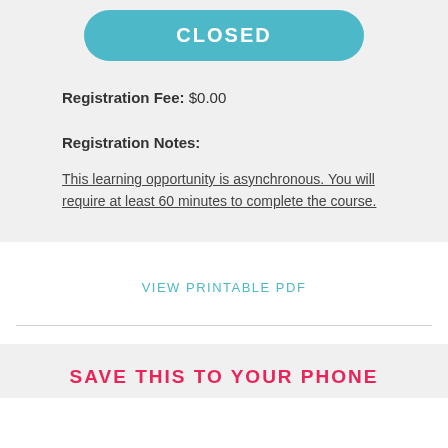[Figure (other): Teal rounded button with white text reading CLOSED]
Registration Fee: $0.00
Registration Notes:
This learning opportunity is asynchronous. You will require at least 60 minutes to complete the course.
VIEW PRINTABLE PDF
SAVE THIS TO YOUR PHONE